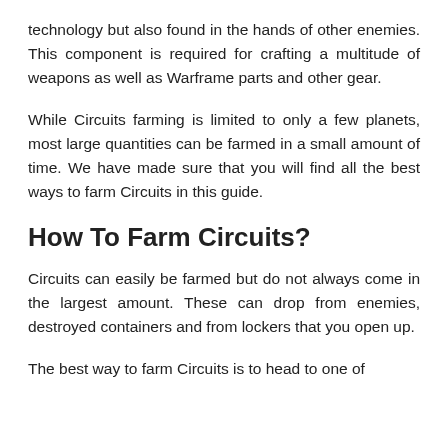technology but also found in the hands of other enemies. This component is required for crafting a multitude of weapons as well as Warframe parts and other gear.
While Circuits farming is limited to only a few planets, most large quantities can be farmed in a small amount of time. We have made sure that you will find all the best ways to farm Circuits in this guide.
How To Farm Circuits?
Circuits can easily be farmed but do not always come in the largest amount. These can drop from enemies, destroyed containers and from lockers that you open up.
The best way to farm Circuits is to head to one of